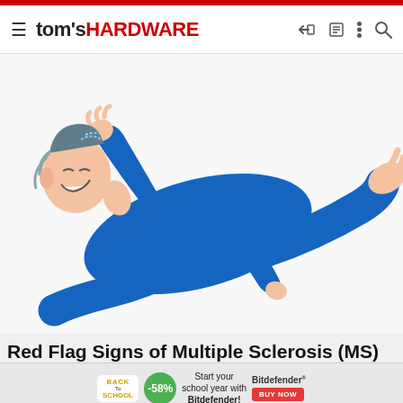tom's HARDWARE
[Figure (illustration): Cartoon illustration of a person in a blue suit lying on their back with arms and legs raised, appearing to have muscle spasms or loss of control, on a white background — illustrating symptoms of Multiple Sclerosis.]
Red Flag Signs of Multiple Sclerosis (MS) Many May Not Be Aware Of
[Figure (infographic): Advertisement banner for Bitdefender Back to School sale with -58% discount badge, text 'Start your school year with Bitdefender!' and a red 'BUY NOW' button.]